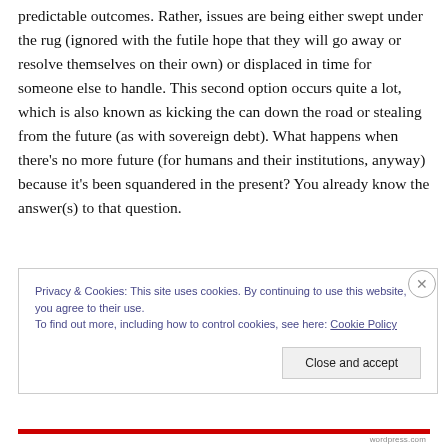predictable outcomes. Rather, issues are being either swept under the rug (ignored with the futile hope that they will go away or resolve themselves on their own) or displaced in time for someone else to handle. This second option occurs quite a lot, which is also known as kicking the can down the road or stealing from the future (as with sovereign debt). What happens when there’s no more future (for humans and their institutions, anyway) because it’s been squandered in the present? You already know the answer(s) to that question.
Privacy & Cookies: This site uses cookies. By continuing to use this website, you agree to their use.
To find out more, including how to control cookies, see here: Cookie Policy